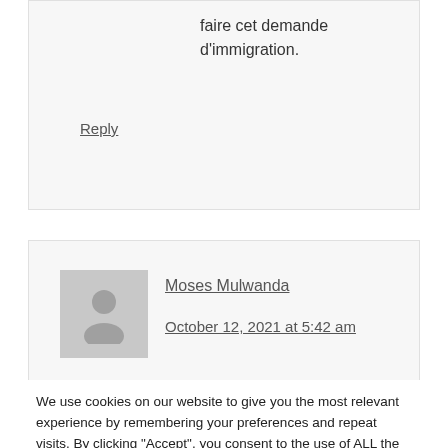faire cet demande d'immigration.
Reply
Moses Mulwanda
October 12, 2021 at 5:42 am
We use cookies on our website to give you the most relevant experience by remembering your preferences and repeat visits. By clicking “Accept”, you consent to the use of ALL the cookies.
Reject.
Cookie Settings
Accept